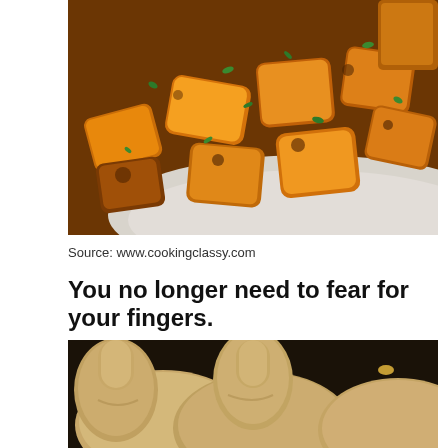[Figure (photo): Close-up photo of roasted butternut squash cubes garnished with fresh herbs on a white plate]
Source: www.cookingclassy.com
You no longer need to fear for your fingers.
[Figure (photo): Photo of whole butternut squash vegetables on a dark background]